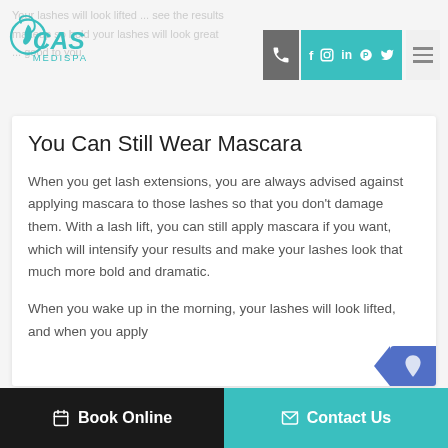[Figure (logo): CAS Medispa teal logo with face silhouette]
CAS Medispa navigation header with phone, social icons (f, Instagram, in, Pinterest, Twitter) and menu
You Can Still Wear Mascara
When you get lash extensions, you are always advised against applying mascara to those lashes so that you don't damage them. With a lash lift, you can still apply mascara if you want, which will intensify your results and make your lashes look that much more bold and dramatic.
When you wake up in the morning, your lashes will look lifted, and when you apply
Book Online | Contact Us